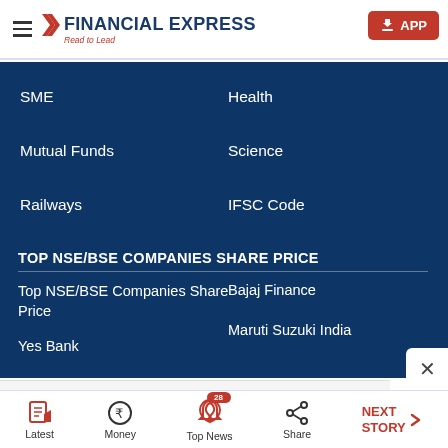FINANCIAL EXPRESS — Read to Lead | APP
SME
Health
Mutual Funds
Science
Railways
IFSC Code
TOP NSE/BSE COMPANIES SHARE PRICE
Top NSE/BSE Companies Share Price
Bajaj Finance
Yes Bank
Maruti Suzuki India
[Figure (screenshot): Advertisement banner: fa.wellsfargoadvisors.com — Need a second opinion? OPEN button]
Latest | Money | Top News (28) | Share | NEXT STORY